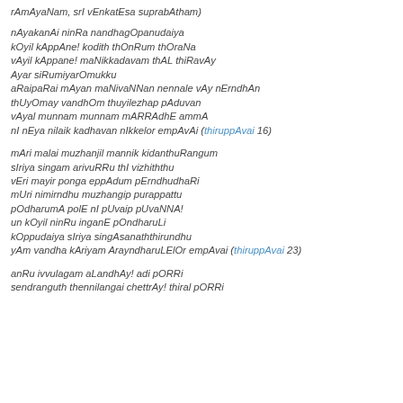rAmAyaNam, srI vEnkatEsa suprabAtham)
nAyakanAi ninRa nandhagOpanudaiya
kOyil kAppAne! kodith thOnRum thOraNa
vAyil kAppane! maNikkadavam thAL thiRavAy
Ayar siRumiyarOmukku
aRaipaRai mAyan maNivaNNan nennale vAy nErndhAn
thUyOmay vandhOm thuyilezhap pAduvan
vAyal munnam munnam mARRAdhE ammA
nI nEya nilaik kadhavan nIkkelor empAvAi (thiruppAvai 16)
mAri malai muzhanjil mannik kidanthuRangum
sIriya singam arivuRRu thI vizhiththu
vEri mayir ponga eppAdum pErndhudhaRi
mUri nimirndhu muzhangip purappattu
pOdharumA polE nI pUvaip pUvaNNA!
un kOyil ninRu inganE pOndharuLi
kOppudaiya sIriya singAsanaththirundhu
yAm vandha kAriyam ArayndharuLElOr empAvai (thiruppAvai 23)
anRu ivvulagam aLandhAy! adi pORRi
sendranguth thennilangai chettrAy! thiral pORRi